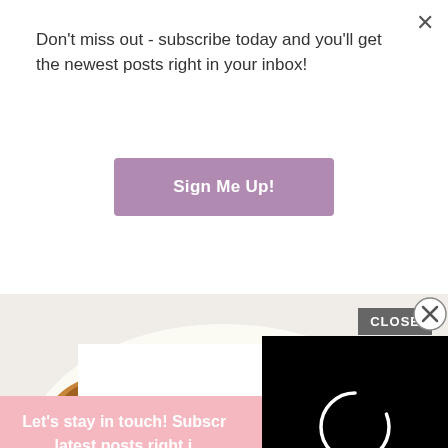Don't miss out - subscribe today and you'll get the newest posts right in your inbox!
[Figure (screenshot): Purple 'Sign Me Up!' button]
[Figure (photo): Food photo showing walnuts and other items on a white plate/surface]
[Figure (screenshot): Black video player overlay with loading circle]
Let's stay in touch! Subscr... latest posts right i...
Email Address
First Name
[Figure (screenshot): Pink 'Sign Me Up!' button]